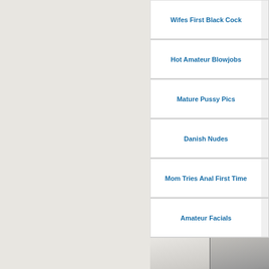Wifes First Black Cock
Hot Amateur Blowjobs
Mature Pussy Pics
Danish Nudes
Mom Tries Anal First Time
Amateur Facials
[Figure (photo): Video thumbnail showing two panels of adult content, duration badge 6m:11s]
Housewife rides husbands friends cock much faster and harder
789 views  50%  👍  2 890